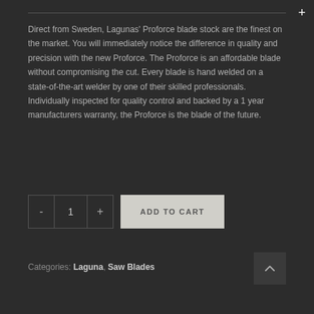Direct from Sweden, Lagunas' Proforce blade stock are the finest on the market. You will immediately notice the difference in quality and precision with the new Proforce. The Proforce is an affordable blade without compromising the cut. Every blade is hand welded on a state-of-the-art welder by one of their skilled professionals. Individually inspected for quality control and backed by a 1 year manufacturers warranty, the Proforce is the blade of the future.
Categories: Laguna, Saw Blades